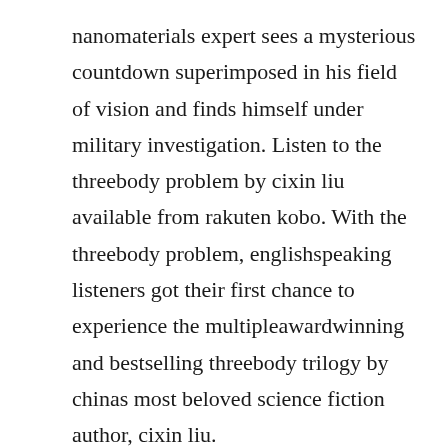nanomaterials expert sees a mysterious countdown superimposed in his field of vision and finds himself under military investigation. Listen to the threebody problem by cixin liu available from rakuten kobo. With the threebody problem, englishspeaking listeners got their first chance to experience the multipleawardwinning and bestselling threebody trilogy by chinas most beloved science fiction author, cixin liu.
This program is read by feodor chin, voice of zenyatta in overwatch. The threebody problem